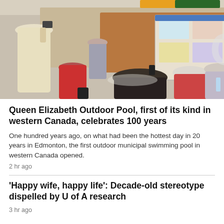[Figure (photo): Indoor event scene: audience seated with backs to camera watching two men standing near a large poster board display. A person in a white hat photographs from the left. The setting appears to be a community center or civic facility.]
Queen Elizabeth Outdoor Pool, first of its kind in western Canada, celebrates 100 years
One hundred years ago, on what had been the hottest day in 20 years in Edmonton, the first outdoor municipal swimming pool in western Canada opened.
2 hr ago
'Happy wife, happy life': Decade-old stereotype dispelled by U of A research
3 hr ago